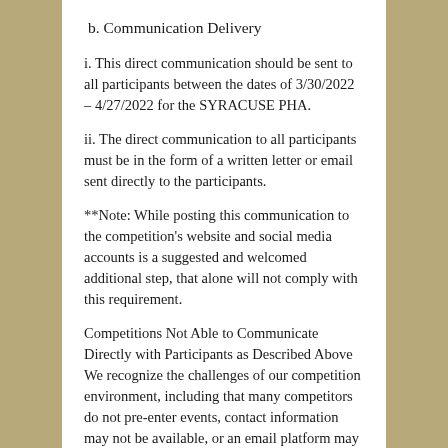b. Communication Delivery
i. This direct communication should be sent to all participants between the dates of 3/30/2022 – 4/27/2022 for the SYRACUSE PHA.
ii. The direct communication to all participants must be in the form of a written letter or email sent directly to the participants.
**Note: While posting this communication to the competition's website and social media accounts is a suggested and welcomed additional step, that alone will not comply with this requirement.
Competitions Not Able to Communicate Directly with Participants as Described Above
We recognize the challenges of our competition environment, including that many competitors do not pre-enter events, contact information may not be available, or an email platform may not be available. Therefore, some competition organizers